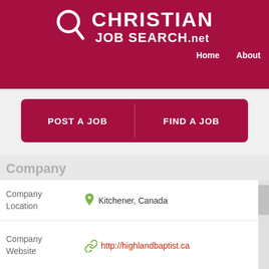CHRISTIAN JOB SEARCH.net | Home | About
[Figure (logo): Christian Job Search .net logo with magnifying glass icon on dark red background]
POST A JOB | FIND A JOB
Company
Company Location: Kitchener, Canada
Company Website: http://highlandbaptist.ca